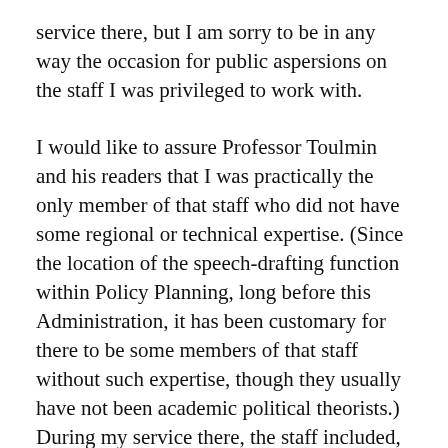service there, but I am sorry to be in any way the occasion for public aspersions on the staff I was privileged to work with.
I would like to assure Professor Toulmin and his readers that I was practically the only member of that staff who did not have some regional or technical expertise. (Since the location of the speech-drafting function within Policy Planning, long before this Administration, it has been customary for there to be some members of that staff without such expertise, though they usually have not been academic political theorists.) During my service there, the staff included, among other regional scholars, three distinguished students of Soviet politics with Ph.D.'s from UCLA, Harvard and